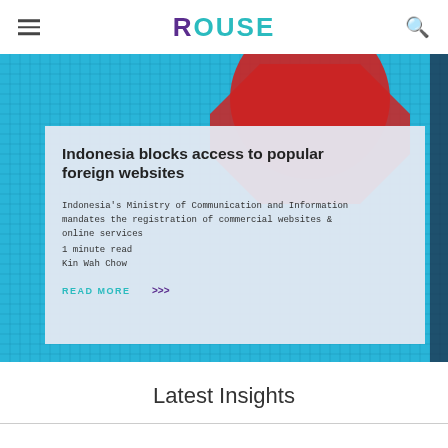ROUSE
[Figure (screenshot): Hero image showing a pixelated/mosaic digital screen with red stop-sign shape, overlaid with a white article card about Indonesia blocking access to foreign websites]
Indonesia blocks access to popular foreign websites
Indonesia's Ministry of Communication and Information mandates the registration of commercial websites & online services
1 minute read
Kin Wah Chow
READ MORE >>>
Latest Insights